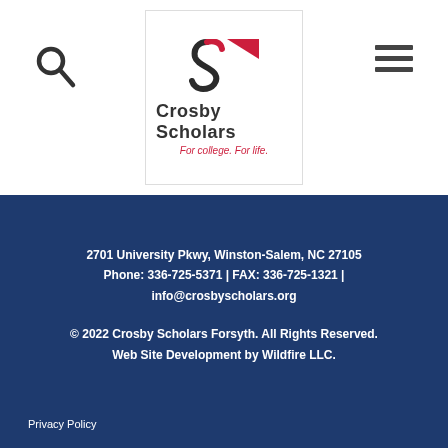[Figure (logo): Crosby Scholars logo with stylized S lettermark and text 'Crosby Scholars / For college. For life.']
2701 University Pkwy, Winston-Salem, NC 27105
Phone: 336-725-5371 | FAX: 336-725-1321 | info@crosbyscholars.org
© 2022 Crosby Scholars Forsyth. All Rights Reserved.
Web Site Development by Wildfire LLC.
Privacy Policy